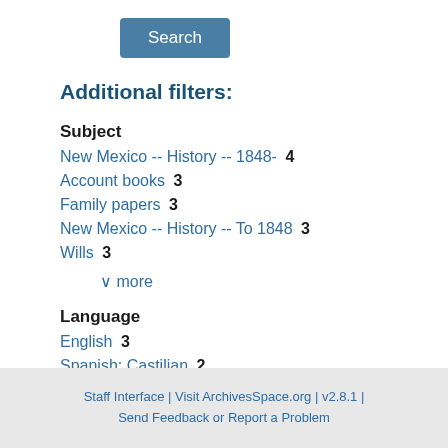Search
Additional filters:
Subject
New Mexico -- History -- 1848-  4
Account books  3
Family papers  3
New Mexico -- History -- To 1848  3
Wills  3
∨ more
Language
English  3
Spanish; Castilian  2
Staff Interface | Visit ArchivesSpace.org | v2.8.1 | Send Feedback or Report a Problem